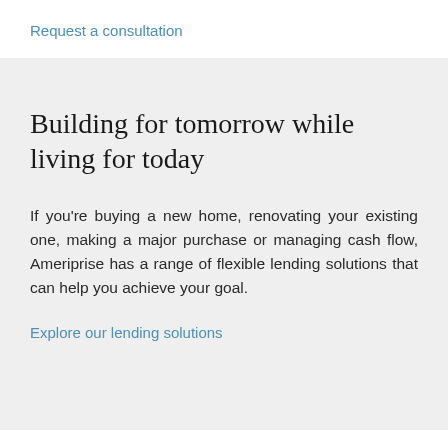Request a consultation
Building for tomorrow while living for today
If you're buying a new home, renovating your existing one, making a major purchase or managing cash flow, Ameriprise has a range of flexible lending solutions that can help you achieve your goal.
Explore our lending solutions